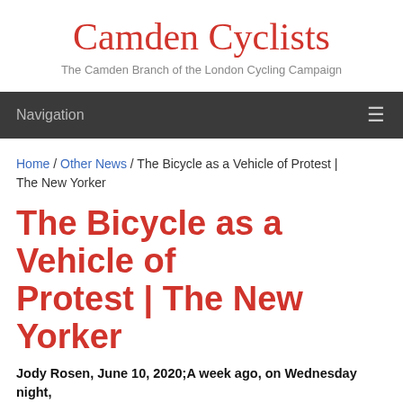Camden Cyclists
The Camden Branch of the London Cycling Campaign
Navigation
Home / Other News / The Bicycle as a Vehicle of Protest | The New Yorker
The Bicycle as a Vehicle of Protest | The New Yorker
Jody Rosen, June 10, 2020;A week ago, on Wednesday night, the third night of a citywide curfew in New York, police